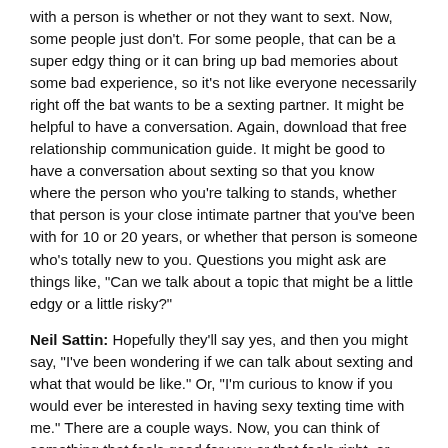with a person is whether or not they want to sext. Now, some people just don't. For some people, that can be a super edgy thing or it can bring up bad memories about some bad experience, so it's not like everyone necessarily right off the bat wants to be a sexting partner. It might be helpful to have a conversation. Again, download that free relationship communication guide. It might be good to have a conversation about sexting so that you know where the person who you're talking to stands, whether that person is your close intimate partner that you've been with for 10 or 20 years, or whether that person is someone who's totally new to you. Questions you might ask are things like, "Can we talk about a topic that might be a little edgy or a little risky?"
Neil Sattin: Hopefully they'll say yes, and then you might say, "I've been wondering if we can talk about sexting and what that would be like." Or, "I'm curious to know if you would ever be interested in having sexy texting time with me." There are a couple ways. Now, you can think of something that feels good for you or that feels right, or that feels right with knowing your partner. But I think it's helpful to, one, get their agreement to even have a conversation with you about something edgy so they know what's coming. And then the second thing is to make it explicit that what you're talking about is being explicit to some degree via texting.
Neil Sattin: Now, as you talk about it, if you have a conversation about it, then you'll be able to gauge how well you or your partner... How much you actually want to get explicit. And there are ways to sext that actually don't involve a single naughty word. Sometimes using the naughty words can be fun, other